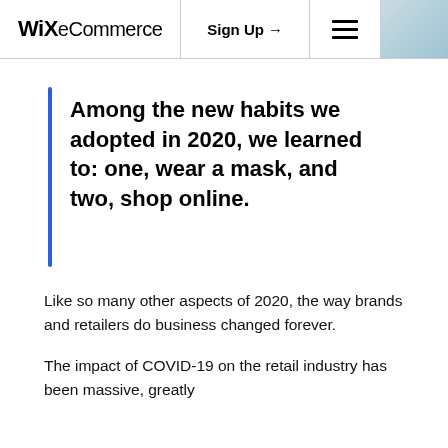WiX eCommerce | Sign Up → | ☰
Among the new habits we adopted in 2020, we learned to: one, wear a mask, and two, shop online.
Like so many other aspects of 2020, the way brands and retailers do business changed forever.
The impact of COVID-19 on the retail industry has been massive, greatly